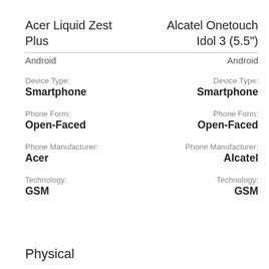Acer Liquid Zest Plus
Alcatel Onetouch Idol 3 (5.5")
Android
Android
Device Type:
Smartphone
Device Type:
Smartphone
Phone Form:
Open-Faced
Phone Form:
Open-Faced
Phone Manufacturer:
Acer
Phone Manufacturer:
Alcatel
Technology:
GSM
Technology:
GSM
Physical